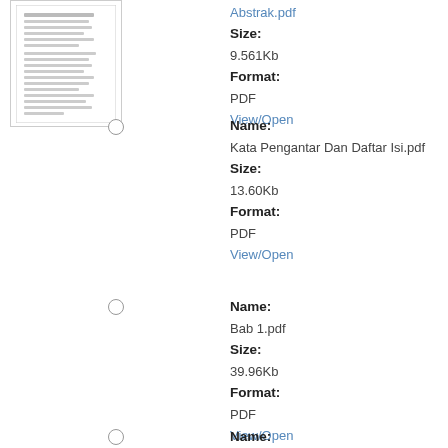[Figure (other): Thumbnail image of a PDF document page showing text content]
Abstrak.pdf
Size:
9.561Kb
Format:
PDF
View/Open
Name:
Kata Pengantar Dan Daftar Isi.pdf
Size:
13.60Kb
Format:
PDF
View/Open
Name:
Bab 1.pdf
Size:
39.96Kb
Format:
PDF
View/Open
Name:
Bab 2.pdf